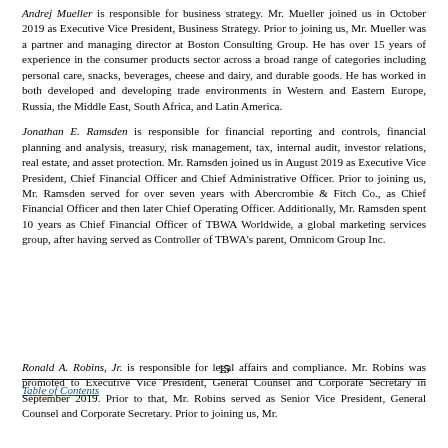Andrej Mueller is responsible for business strategy. Mr. Mueller joined us in October 2019 as Executive Vice President, Business Strategy. Prior to joining us, Mr. Mueller was a partner and managing director at Boston Consulting Group. He has over 15 years of experience in the consumer products sector across a broad range of categories including personal care, snacks, beverages, cheese and dairy, and durable goods. He has worked in both developed and developing trade environments in Western and Eastern Europe, Russia, the Middle East, South Africa, and Latin America.
Jonathan E. Ramsden is responsible for financial reporting and controls, financial planning and analysis, treasury, risk management, tax, internal audit, investor relations, real estate, and asset protection. Mr. Ramsden joined us in August 2019 as Executive Vice President, Chief Financial Officer and Chief Administrative Officer. Prior to joining us, Mr. Ramsden served for over seven years with Abercrombie & Fitch Co., as Chief Financial Officer and then later Chief Operating Officer. Additionally, Mr. Ramsden spent 10 years as Chief Financial Officer of TBWA Worldwide, a global marketing services group, after having served as Controller of TBWA's parent, Omnicom Group Inc.
15
Table of Contents
Ronald A. Robins, Jr. is responsible for legal affairs and compliance. Mr. Robins was promoted to Executive Vice President, General Counsel and Corporate Secretary in September 2019. Prior to that, Mr. Robins served as Senior Vice President, General Counsel and Corporate Secretary. Prior to joining us, Mr. Robins...